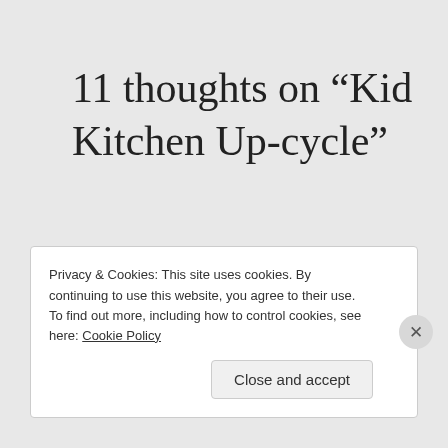11 thoughts on “Kid Kitchen Up-cycle”
[Figure (photo): Round avatar photo of a person wearing sunglasses and a colorful top, sitting in a chair outdoors]
Espirational
Privacy & Cookies: This site uses cookies. By continuing to use this website, you agree to their use.
To find out more, including how to control cookies, see here: Cookie Policy
Close and accept